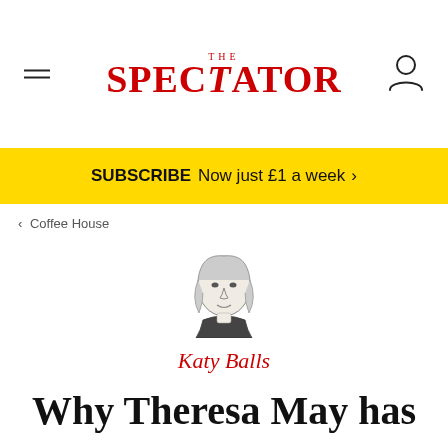THE SPECTATOR
SUBSCRIBE Now just £1 a week >
< Coffee House
[Figure (illustration): Black and white caricature portrait illustration of Katy Balls, a woman with shoulder-length hair]
Katy Balls
Why Theresa May has